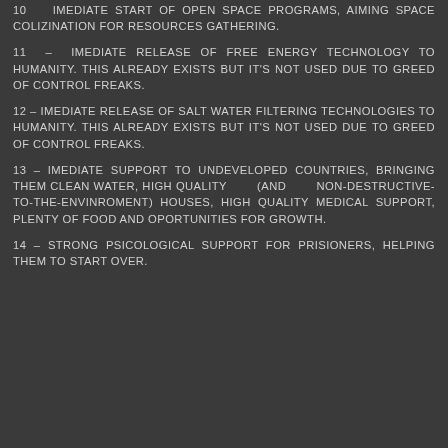10 – IMEDIATE START OF OPEN SPACE PROGRAMS, AIMING SPACE COLIZINATION FOR RESOURCES GATHERING.
11 – IMEDIATE RELEASE OF FREE ENERGY TECHNOLOGY TO HUMANITY. THIS ALREADY EXISTS BUT IT'S NOT USED DUE TO GREED OF CONTROL FREAKS.
12 – IMEDIATE RELEASE OF SALT WATER FILTERING TECHNOLOGIES TO HUMANITY. THIS ALREADY EXISTS BUT IT'S NOT USED DUE TO GREED OF CONTROL FREAKS.
13 – IMEDIATE SUPPORT TO UNDEVELOPED COUNTRIES, BRINGING THEM CLEAN WATER, HIGH QUALITY (AND NON-DESTRUCTIVE-TO-THE-ENVINROMENT) HOUSES, HIGH QUALITY MEDICAL SUPPORT, PLENTY OF FOOD AND OPORTUNITIES FOR GROWTH.
14 – STRONG PSICOLOGICAL SUPPORT FOR PRISIONERS, HELPING THEM TO START OVER.